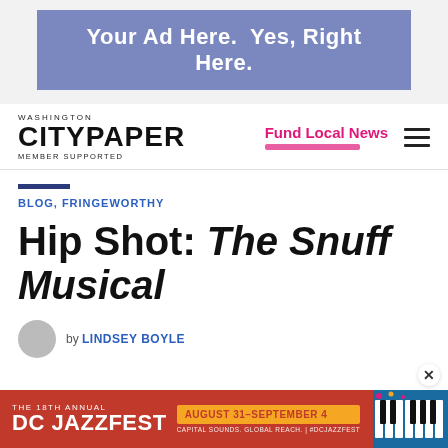[Figure (other): Advertisement banner with purple/indigo background reading 'Your Ad Here. Yes, Right Here.']
WASHINGTON CITYPAPER MEMBER SUPPORTED
Fund Local News
BLOG, FRINGEWORTHY
Hip Shot: The Snuff Musical
by LINDSEY BOYLE
[Figure (other): DC Jazzfest advertisement banner: THE 18TH ANNUAL DC JAZZFEST, AUGUST 31–SEPTEMBER 4, CAPITAL SOUNDS. GLOBAL REACH. | #DCJAZZFEST]